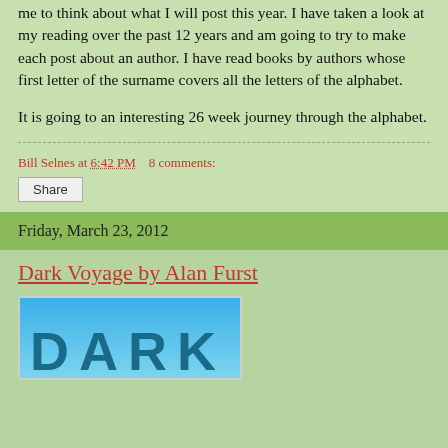me to think about what I will post this year. I have taken a look at my reading over the past 12 years and am going to try to make each post about an author. I have read books by authors whose first letter of the surname covers all the letters of the alphabet.
It is going to an interesting 26 week journey through the alphabet.
Bill Selnes at 6:42 PM    8 comments:
Share
Friday, March 23, 2012
Dark Voyage by Alan Furst
[Figure (photo): Book cover image showing the word DARK in large teal letters against a blue gradient background]